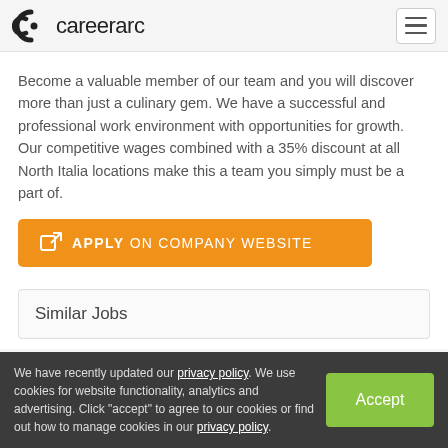careerarc
Become a valuable member of our team and you will discover more than just a culinary gem. We have a successful and professional work environment with opportunities for growth. Our competitive wages combined with a 35% discount at all North Italia locations make this a team you simply must be a part of.
APPLY ON COMPANY WEBSITE
Similar Jobs
We have recently updated our privacy policy. We use cookies for website functionality, analytics and advertising. Click "accept" to agree to our cookies or find out how to manage cookies in our privacy policy.